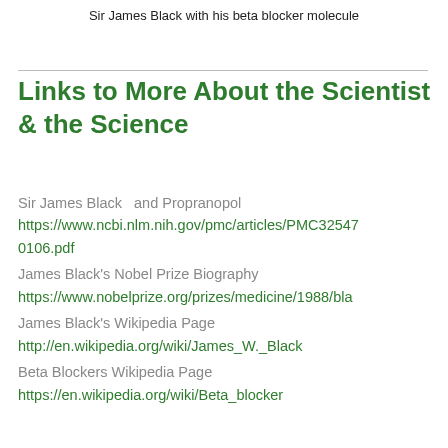Sir James Black with his beta blocker molecule
Links to More About the Scientist & the Science
Sir James Black  and Propranopol
https://www.ncbi.nlm.nih.gov/pmc/articles/PMC32547...0106.pdf
James Black's Nobel Prize Biography
https://www.nobelprize.org/prizes/medicine/1988/bla...
James Black's Wikipedia Page
http://en.wikipedia.org/wiki/James_W._Black
Beta Blockers Wikipedia Page
https://en.wikipedia.org/wiki/Beta_blocker